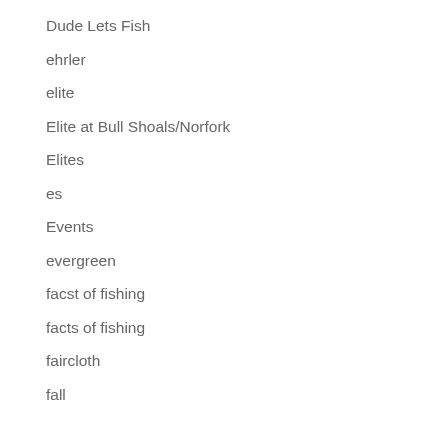Dude Lets Fish
ehrler
elite
Elite at Bull Shoals/Norfork
Elites
es
Events
evergreen
facst of fishing
facts of fishing
faircloth
fall